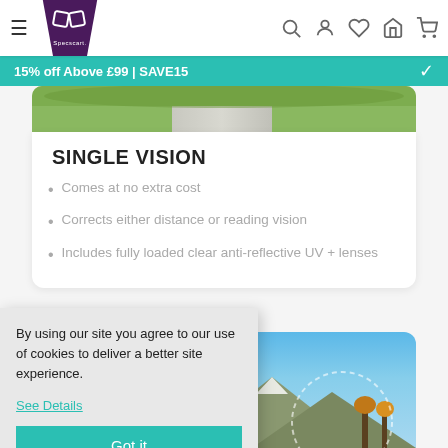Specscart navigation bar with hamburger menu, logo, search, account, wishlist, store, and cart icons
15% off Above £99 | SAVE15
[Figure (photo): Partial view of a green outdoor road/path scene]
SINGLE VISION
Comes at no extra cost
Corrects either distance or reading vision
Includes fully loaded clear anti-reflective UV + lenses
[Figure (photo): Partial view of a mountain landscape with blue sky and autumn trees, with a lens circle overlay]
By using our site you agree to our use of cookies to deliver a better site experience.
See Details
Got it